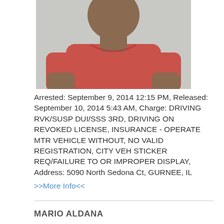[Figure (photo): Mugshot photo of a person wearing a red/coral t-shirt, upper torso visible, against a light gray background.]
Arrested: September 9, 2014 12:15 PM, Released: September 10, 2014 5:43 AM, Charge: DRIVING RVK/SUSP DUI/SSS 3RD, DRIVING ON REVOKED LICENSE, INSURANCE - OPERATE MTR VEHICLE WITHOUT, NO VALID REGISTRATION, CITY VEH STICKER REQ/FAILURE TO OR IMPROPER DISPLAY, Address: 5090 North Sedona Ct, GURNEE, IL
>>More Info<<
MARIO ALDANA